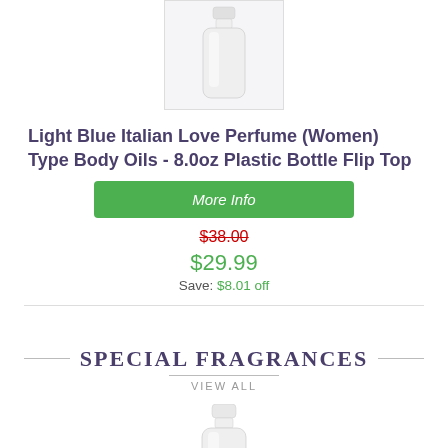[Figure (photo): White plastic bottle with flip top cap, product photo on white/light gray background with border]
Light Blue Italian Love Perfume (Women) Type Body Oils - 8.0oz Plastic Bottle Flip Top
More Info
$38.00
$29.99
Save: $8.01 off
SPECIAL FRAGRANCES
VIEW ALL
[Figure (photo): White plastic bottle with white cap, partial view at bottom of page]